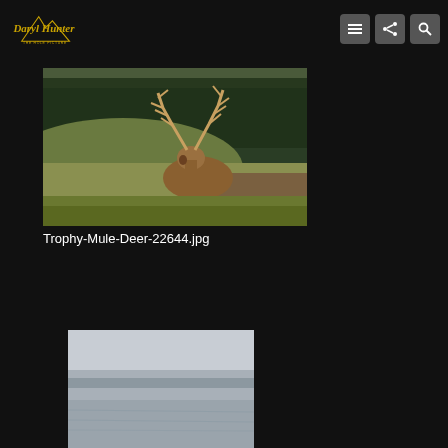Daryl Hunter The Hole Picture — navigation header with logo and icons
[Figure (photo): A trophy mule deer buck standing in brushy mountain terrain with pine forest in the background. The deer has a large multi-point antler rack. Outdoor wildlife photography.]
Trophy-Mule-Deer-22644.jpg
[Figure (photo): A second partially visible wildlife photo at the bottom of the page, appears to show a misty or foggy outdoor scene.]